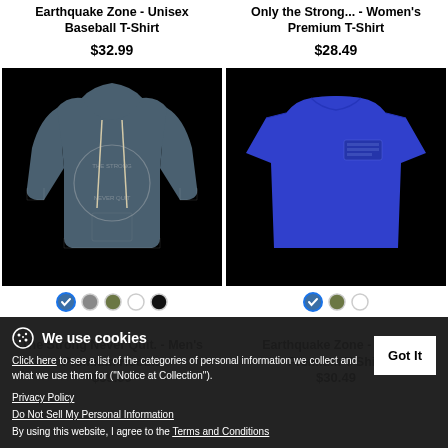Earthquake Zone - Unisex Baseball T-Shirt
$32.99
Only the Strong... - Women's Premium T-Shirt
$28.49
[Figure (photo): Dark blue/grey heathered men's premium hoodie on black background with circular text graphic]
[Figure (photo): Royal blue men's premium t-shirt on black background with small rectangular graphic on chest]
The Strong Never Quit. - Men's Premium Hoodie
Earthquake Zone - Men's Premium T-Shirt
$39.99
$30.49
We use cookies
Click here to see a list of the categories of personal information we collect and what we use them for ("Notice at Collection").
Privacy Policy
Do Not Sell My Personal Information
By using this website, I agree to the Terms and Conditions